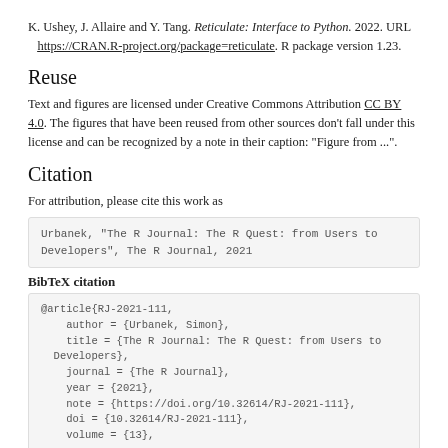K. Ushey, J. Allaire and Y. Tang. Reticulate: Interface to Python. 2022. URL https://CRAN.R-project.org/package=reticulate. R package version 1.23.
Reuse
Text and figures are licensed under Creative Commons Attribution CC BY 4.0. The figures that have been reused from other sources don't fall under this license and can be recognized by a note in their caption: "Figure from ...".
Citation
For attribution, please cite this work as
Urbanek, "The R Journal: The R Quest: from Users to Developers", The R Journal, 2021
BibTeX citation
@article{RJ-2021-111,
  author = {Urbanek, Simon},
  title = {The R Journal: The R Quest: from Users to Developers},
  journal = {The R Journal},
  year = {2021},
  note = {https://doi.org/10.32614/RJ-2021-111},
  doi = {10.32614/RJ-2021-111},
  volume = {13},